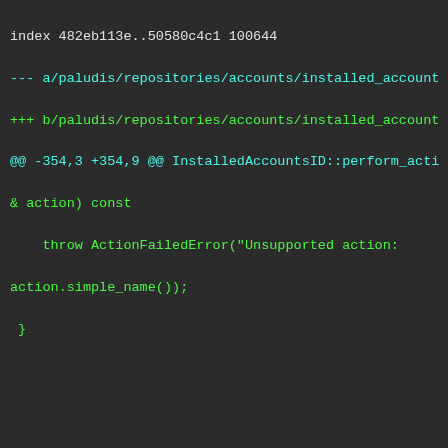index 482eb113e..50580c4c1 100644
--- a/paludis/repositories/accounts/installed_account
+++ b/paludis/repositories/accounts/installed_account
@@ -354,3 +354,9 @@ InstalledAccountsID::perform_acti
& action) const
    throw ActionFailedError("Unsupported action:
action.simple_name());
 }

+const std::shared_ptr<const Contents>
+InstalledAccountsID::contents() const
+{
+    return make_null_shared_ptr();
+}
+
diff --git
a/paludis/repositories/accounts/installed_accounts
b/paludis/repositories/accounts/installed_accounts
index 89f4ae559..5328c2626 100644
--- a/paludis/repositories/accounts/installed_account
+++ b/paludis/repositories/accounts/installed_account
@@ -84,6 +84,8 @@ namespace paludis
    virtual bool supports_action(cons